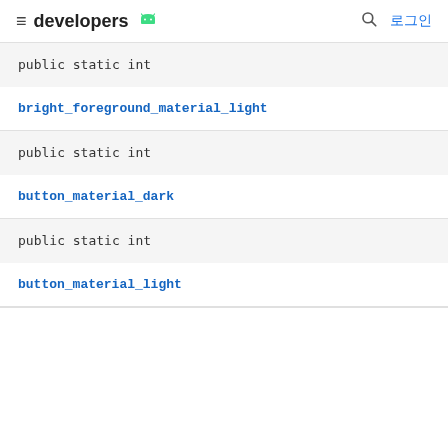developers 로그인
public static int
bright_foreground_material_light
public static int
button_material_dark
public static int
button_material_light